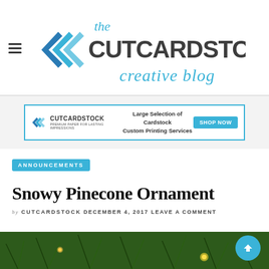[Figure (logo): The CutCardStock Creative Blog logo with double chevron arrows and stylized script text]
[Figure (infographic): CutCardStock advertisement banner: Large Selection of Cardstock, Custom Printing Services, SHOP NOW button]
ANNOUNCEMENTS
Snowy Pinecone Ornament
by CUTCARDSTOCK DECEMBER 4, 2017 LEAVE A COMMENT
[Figure (photo): Close-up photo of a Christmas tree with pine branches and lights, bottom of article]